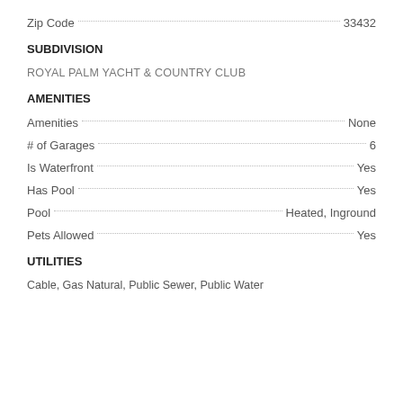Zip Code: 33432
SUBDIVISION
ROYAL PALM YACHT & COUNTRY CLUB
AMENITIES
Amenities: None
# of Garages: 6
Is Waterfront: Yes
Has Pool: Yes
Pool: Heated, Inground
Pets Allowed: Yes
UTILITIES
Cable, Gas Natural, Public Sewer, Public Water